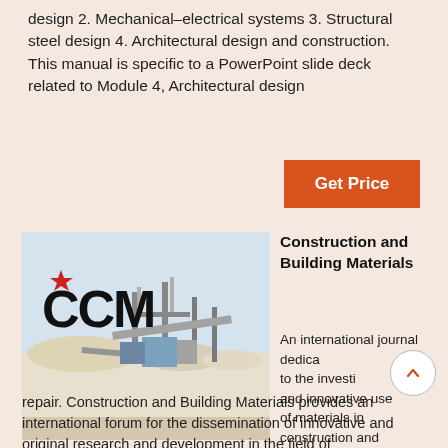design 2. Mechanical–electrical systems 3. Structural steel design 4. Architectural design and construction. This manual is specific to a PowerPoint slide deck related to Module 4, Architectural design
Get Price
[Figure (photo): Photo of a construction/mining aggregate processing facility with logo 'CCM' (star replacing first C) in the foreground and industrial machinery in the background]
Construction and Building Materials
An international journal dedicated to the investigation and innovative use of materials in construction and repair. Construction and Building Materials provides an international forum for the dissemination of innovative and original research and development in the field of